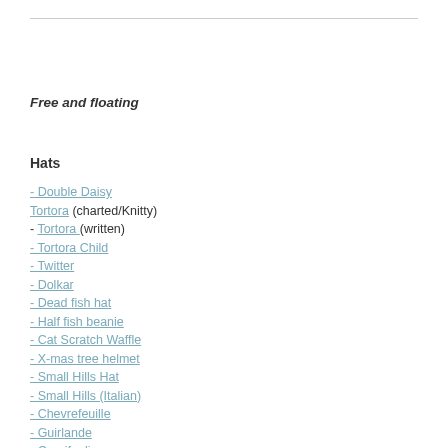Free and floating
Hats
- Double Daisy
Tortora (charted/Knitty)
- Tortora  (written)
- Tortora Child
- Twitter
- Dolkar
- Dead fish hat
- Half fish beanie
- Cat Scratch Waffle
- X-mas tree helmet
- Small Hills Hat
- Small Hills (Italian)
- Chevrefeuille
- Guirlande
- Caprifoglio
- Llama hat
- Shy
- Angmo